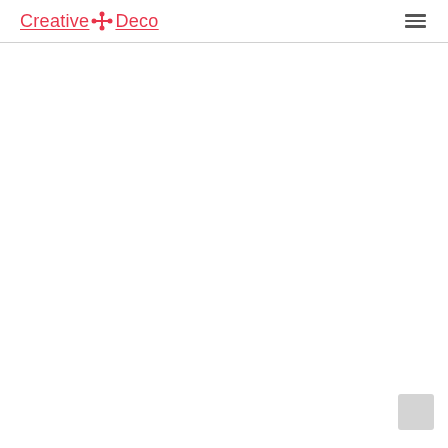Creative Deco
[Figure (logo): Creative Deco logo with red text and cross/flower icon, underlined, followed by a hamburger menu icon on the right]